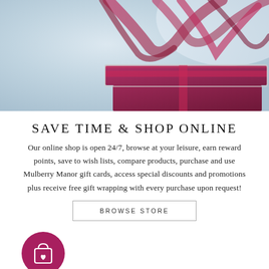[Figure (photo): A dark red/burgundy gift box with a red ribbon bow on top, set against a light blue-grey background. The gift box has a decorative ribbon element.]
SAVE TIME & SHOP ONLINE
Our online shop is open 24/7, browse at your leisure, earn reward points, save to wish lists, compare products, purchase and use Mulberry Manor gift cards, access special discounts and promotions plus receive free gift wrapping with every purchase upon request!
BROWSE STORE
[Figure (illustration): A circular magenta/pink icon containing a shopping bag with a heart symbol on it.]